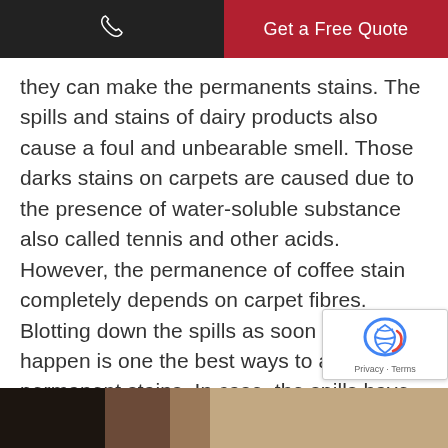Get a Free Quote
they can make the permanents stains. The spills and stains of dairy products also cause a foul and unbearable smell. Those darks stains on carpets are caused due to the presence of water-soluble substance also called tennis and other acids. However, the permanence of coffee stain completely depends on carpet fibres. Blotting down the spills as soon as they happen is one the best ways to avoid the permanent stains. In case, the spills have dried up, you can hire the professionals of our team.
[Figure (other): reCAPTCHA badge with privacy and terms links]
[Figure (photo): Partial image at bottom of page showing dark and medium-toned areas]